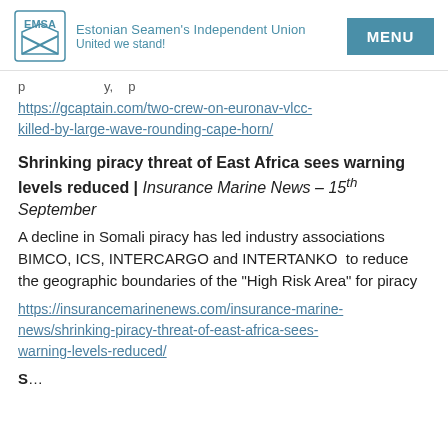Estonian Seamen's Independent Union | United we stand! | MENU
p … y, p
https://gcaptain.com/two-crew-on-euronav-vlcc-killed-by-large-wave-rounding-cape-horn/
Shrinking piracy threat of East Africa sees warning levels reduced | Insurance Marine News – 15th September
A decline in Somali piracy has led industry associations BIMCO, ICS, INTERCARGO and INTERTANKO  to reduce the geographic boundaries of the "High Risk Area" for piracy
https://insurancemarinenews.com/insurance-marine-news/shrinking-piracy-threat-of-east-africa-sees-warning-levels-reduced/
S…